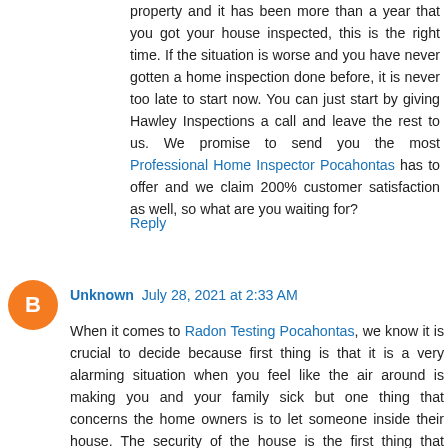property and it has been more than a year that you got your house inspected, this is the right time. If the situation is worse and you have never gotten a home inspection done before, it is never too late to start now. You can just start by giving Hawley Inspections a call and leave the rest to us. We promise to send you the most Professional Home Inspector Pocahontas has to offer and we claim 200% customer satisfaction as well, so what are you waiting for?
Reply
Unknown  July 28, 2021 at 2:33 AM
When it comes to Radon Testing Pocahontas, we know it is crucial to decide because first thing is that it is a very alarming situation when you feel like the air around is making you and your family sick but one thing that concerns the home owners is to let someone inside their house. The security of the house is the first thing that comes in the minds of the residents when it is about letting a stranger come inside your house and inspect everything in detail. We understand that you need to be 100% sure yourself before trusting someone else completely with the